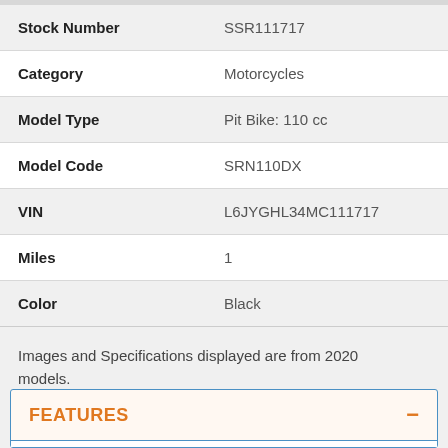| Field | Value |
| --- | --- |
| Stock Number | SSR111717 |
| Category | Motorcycles |
| Model Type | Pit Bike: 110 cc |
| Model Code | SRN110DX |
| VIN | L6JYGHL34MC111717 |
| Miles | 1 |
| Color | Black |
Images and Specifications displayed are from 2020 models.
FEATURES